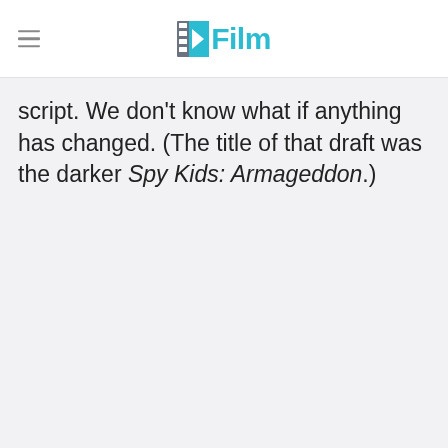/Film
script. We don't know what if anything has changed. (The title of that draft was the darker Spy Kids: Armageddon.)